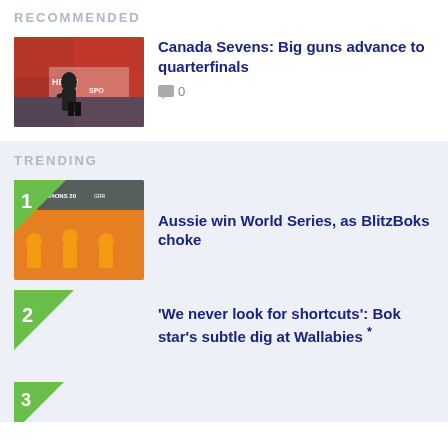RECOMMENDED
[Figure (photo): Rugby player running with ball on field, with HEROH SPO signage visible in background]
Canada Sevens: Big guns advance to quarterfinals
0
TRENDING
[Figure (photo): Team photo with champions banner, ranked #1 trending article]
Aussie win World Series, as BlitzBoks choke
'We never look for shortcuts': Bok star's subtle dig at Wallabies *
3